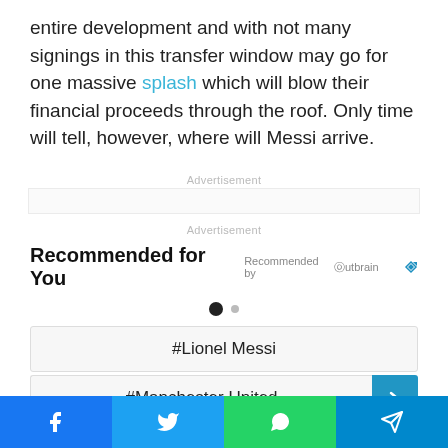entire development and with not many signings in this transfer window may go for one massive splash which will blow their financial proceeds through the roof. Only time will tell, however, where will Messi arrive.
Advertisement
Advertisement
Recommended for You
Recommended by Outbrain
#Lionel Messi
#Manchester United